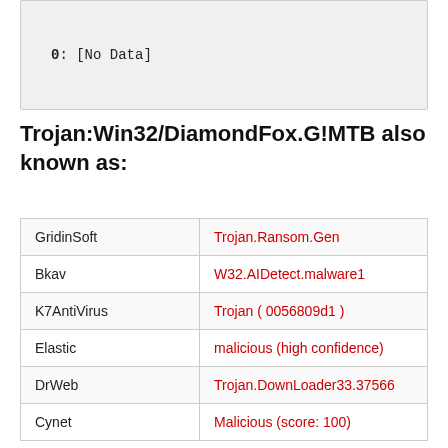0:  [No Data]
Trojan:Win32/DiamondFox.G!MTB also known as:
|  |  |
| --- | --- |
| GridinSoft | Trojan.Ransom.Gen |
| Bkav | W32.AIDetect.malware1 |
| K7AntiVirus | Trojan ( 0056809d1 ) |
| Elastic | malicious (high confidence) |
| DrWeb | Trojan.DownLoader33.37566 |
| Cynet | Malicious (score: 100) |